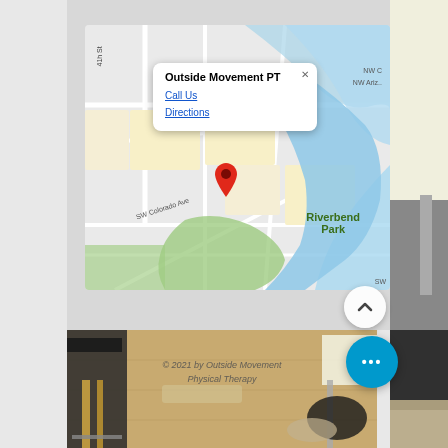[Figure (screenshot): Screenshot of a website showing a Google Maps embed with a popup for 'Outside Movement PT' with options 'Call Us' and 'Directions'. The map shows the Portland/Riverbend Park area with a red pin marker. Below the map is a photo of a physical therapy office space. There are UI buttons including a scroll-up chevron button and a blue 'more' button with three dots.]
© 2021 by Outside Movement Physical Therapy